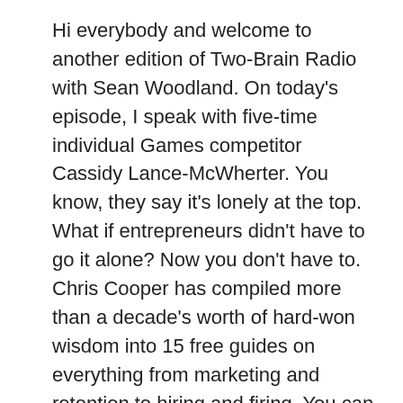Hi everybody and welcome to another edition of Two-Brain Radio with Sean Woodland. On today's episode, I speak with five-time individual Games competitor Cassidy Lance-McWherter. You know, they say it's lonely at the top. What if entrepreneurs didn't have to go it alone? Now you don't have to. Chris Cooper has compiled more than a decade's worth of hard-won wisdom into 15 free guides on everything from marketing and retention to hiring and firing. You can download them all for free at TwoBrainbusiness.com/free-tools. Cassidy Lance-McWherter debuted at the Games as an individual in 2013 and she had her best career finish the following year when she took eighth overall. She also won the worldwide Open in 2018 before finishing 10th in her